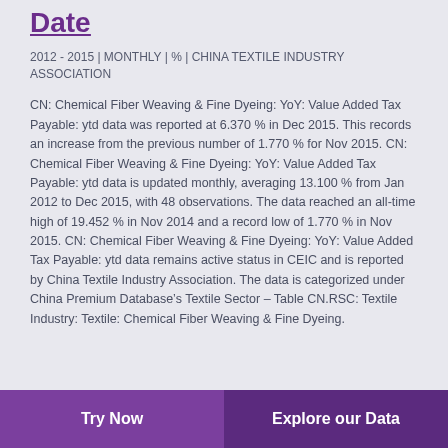Date
2012 - 2015 | MONTHLY | % | CHINA TEXTILE INDUSTRY ASSOCIATION
CN: Chemical Fiber Weaving & Fine Dyeing: YoY: Value Added Tax Payable: ytd data was reported at 6.370 % in Dec 2015. This records an increase from the previous number of 1.770 % for Nov 2015. CN: Chemical Fiber Weaving & Fine Dyeing: YoY: Value Added Tax Payable: ytd data is updated monthly, averaging 13.100 % from Jan 2012 to Dec 2015, with 48 observations. The data reached an all-time high of 19.452 % in Nov 2014 and a record low of 1.770 % in Nov 2015. CN: Chemical Fiber Weaving & Fine Dyeing: YoY: Value Added Tax Payable: ytd data remains active status in CEIC and is reported by China Textile Industry Association. The data is categorized under China Premium Database’s Textile Sector – Table CN.RSC: Textile Industry: Textile: Chemical Fiber Weaving & Fine Dyeing.
Try Now | Explore our Data